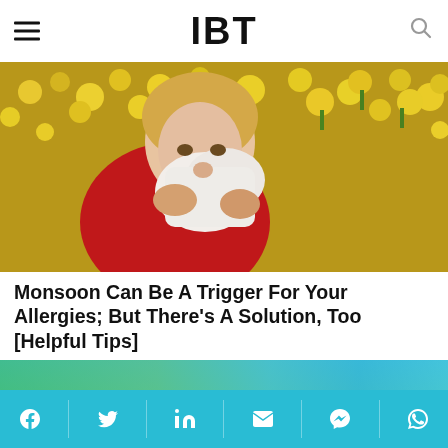IBT
[Figure (photo): Woman in red jacket blowing her nose with a tissue against a background of yellow flowers, depicting allergy symptoms]
Monsoon Can Be A Trigger For Your Allergies; But There's A Solution, Too [Helpful Tips]
[Figure (photo): Dark silhouette of a person hunched over against a blurred green and teal background, depicting illness or discomfort]
Social share bar: Facebook, Twitter, LinkedIn, Email, Messenger, WhatsApp